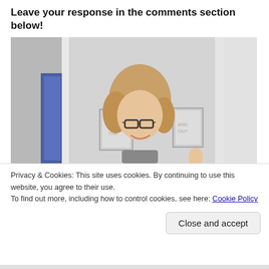Leave your response in the comments section below!
[Figure (photo): A woman with curly blonde hair and glasses smiling, photographed in a mirror reflection, with framed art prints on the wall behind her and a blue-tiled room visible to the left.]
Privacy & Cookies: This site uses cookies. By continuing to use this website, you agree to their use.
To find out more, including how to control cookies, see here: Cookie Policy
Close and accept